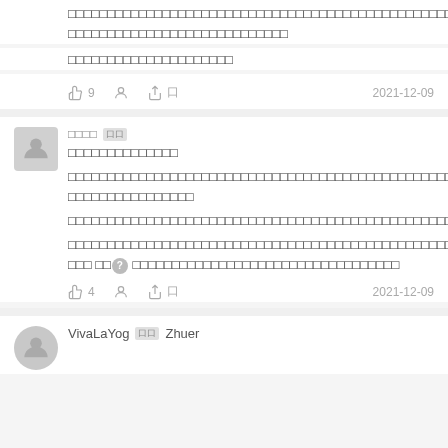[Figure (screenshot): Social media comment thread in Chinese language showing user comments, like counts, and dates (2021-12-09)]
[Chinese text - comment content spanning two lines]
[Chinese text - short comment line]
👍 9   👤   🔗口   2021-12-09
□□□□ 口口  [username with badge]
[Chinese bold text - heading line]
[Chinese text - multiple paragraph comment with question badge]
👍 4   👤   🔗口   2021-12-09
VivaLaYog 口口 Zhuer